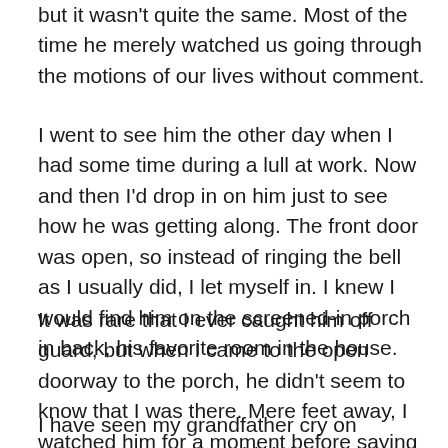but it wasn't quite the same. Most of the time he merely watched us going through the motions of our lives without comment.
I went to see him the other day when I had some time during a lull at work. Now and then I'd drop in on him just to see how he was getting along. The front door was open, so instead of ringing the bell as I usually did, I let myself in. I knew I would find him on the screened-in porch in back, his favorite room in the house.
It was rare that I ever caught him off guard, but when I came to the open doorway to the porch, he didn't seem to know that I was there. Mere feet away, I watched him for a moment before saying “Hello.”
I have seen my grandfather cry on numerous occasions: birthdays, graduations, weddings, funerals, or simply when